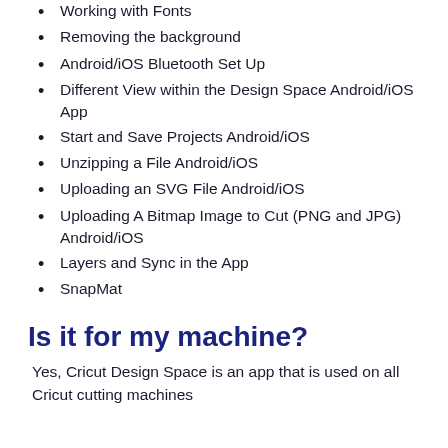Working with Fonts
Removing the background
Android/iOS Bluetooth Set Up
Different View within the Design Space Android/iOS App
Start and Save Projects Android/iOS
Unzipping a File Android/iOS
Uploading an SVG File Android/iOS
Uploading A Bitmap Image to Cut (PNG and JPG) Android/iOS
Layers and Sync in the App
SnapMat
Is it for my machine?
Yes, Cricut Design Space is an app that is used on all Cricut cutting machines